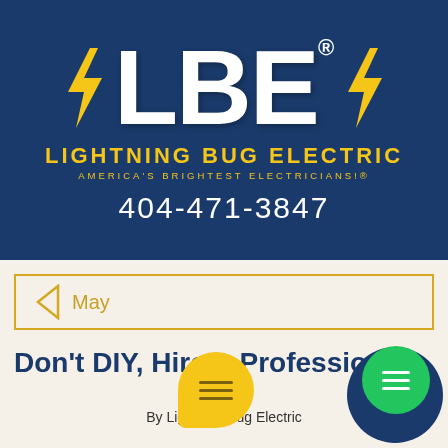[Figure (logo): Lightning Bug Electric logo on dark blue background. Large white 'LBE' letters with yellow lightning bolts on each side. Below: 'LIGHTNING BUG ELECTRIC' in yellow bold caps, 'AMERICA'S BRIGHTEST ELECTRICIANS!®' in smaller yellow text, and '404-471-3847' in white.]
May
Don't DIY, Hire A Professional!
May 17
By Lightning Bug Electric